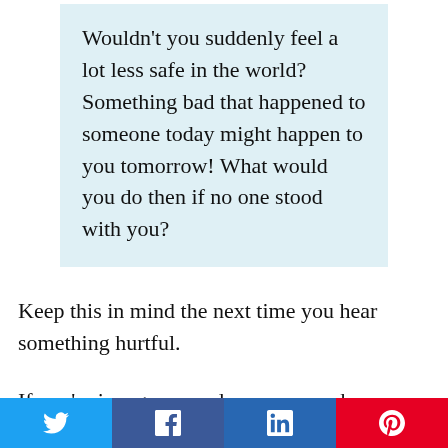Wouldn't you suddenly feel a lot less safe in the world? Something bad that happened to someone today might happen to you tomorrow! What would you do then if no one stood with you?
Keep this in mind the next time you hear something hurtful.
If you're in a group and someone makes an inappropriate racial remark, call them out on it. You might not always know the right thing
[Figure (infographic): Social share buttons row: Twitter (blue), Facebook (dark blue), LinkedIn (blue), Pinterest (red)]